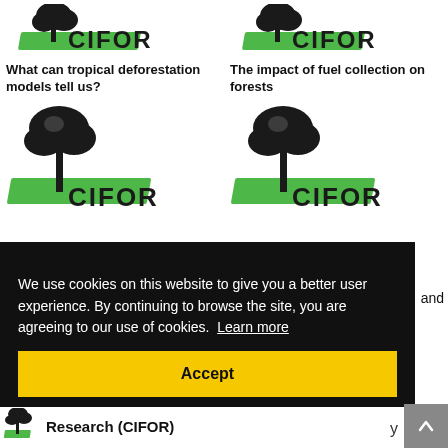[Figure (logo): CIFOR logo top-left]
[Figure (logo): CIFOR logo top-right]
What can tropical deforestation models tell us?
The impact of fuel collection on forests
[Figure (logo): CIFOR logo second row left]
[Figure (logo): CIFOR logo second row right]
We use cookies on this website to give you a better user experience. By continuing to browse the site, you are agreeing to our use of cookies. Learn more
Accept
Research (CIFOR)